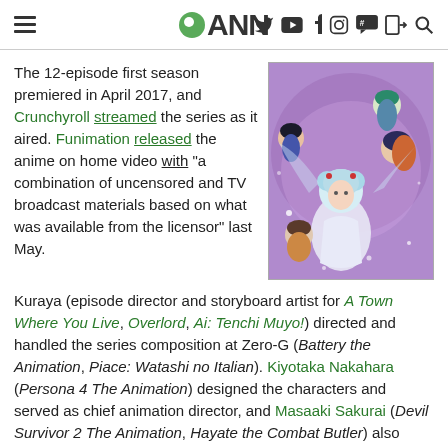ANN (Anime News Network) website header with hamburger menu, logo, and social media icons
The 12-episode first season premiered in April 2017, and Crunchyroll streamed the series as it aired. Funimation released the anime on home video with "a combination of uncensored and TV broadcast materials based on what was available from the licensor" last May.
[Figure (illustration): Anime illustration showing characters from the series against a purple background]
Kuraya (episode director and storyboard artist for A Town Where You Live, Overlord, Ai: Tenchi Muyo!) directed and handled the series composition at Zero-G (Battery the Animation, Piace: Watashi no Italian). Kiyotaka Nakahara (Persona 4 The Animation) designed the characters and served as chief animation director, and Masaaki Sakurai (Devil Survivor 2 The Animation, Hayate the Combat Butler) also served as chief animation director.